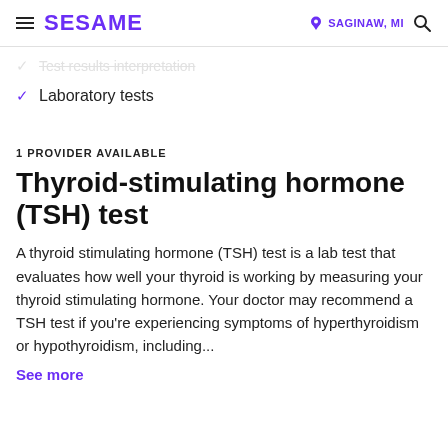SESAME | SAGINAW, MI
Test results interpretation
Laboratory tests
1 PROVIDER AVAILABLE
Thyroid-stimulating hormone (TSH) test
A thyroid stimulating hormone (TSH) test is a lab test that evaluates how well your thyroid is working by measuring your thyroid stimulating hormone. Your doctor may recommend a TSH test if you're experiencing symptoms of hyperthyroidism or hypothyroidism, including...
See more